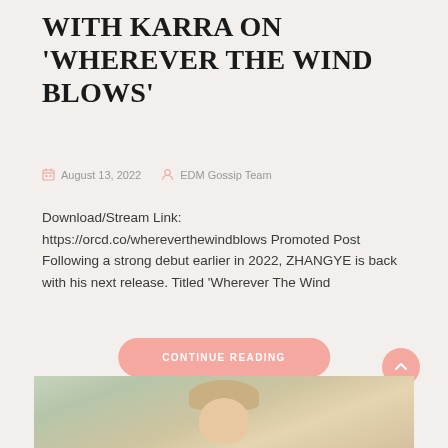WITH KARRA ON 'WHEREVER THE WIND BLOWS'
August 13, 2022   EDM Gossip Team
Download/Stream Link: https://orcd.co/whereverthewindblows Promoted Post Following a strong debut earlier in 2022, ZHANGYE is back with his next release. Titled 'Wherever The Wind
CONTINUE READING
[Figure (photo): Partial photo of a person visible at the bottom of the page]